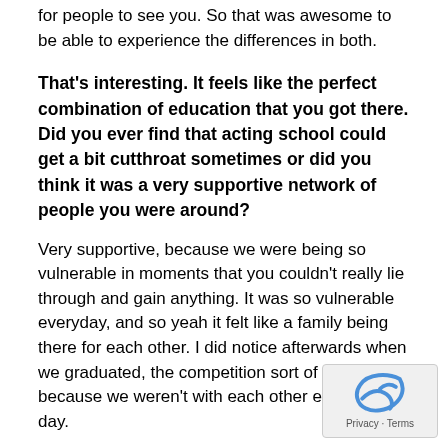for people to see you. So that was awesome to be able to experience the differences in both.
That's interesting. It feels like the perfect combination of education that you got there. Did you ever find that acting school could get a bit cutthroat sometimes or did you think it was a very supportive network of people you were around?
Very supportive, because we were being so vulnerable in moments that you couldn't really lie through and gain anything. It was so vulnerable everyday, and so yeah it felt like a family being there for each other. I did notice afterwards when we graduated, the competition sort of shifted because we weren't with each other every single day.
rms of the future, what projects would you Would you ever write or direct?